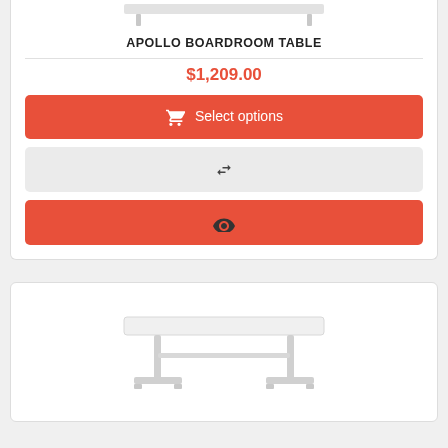[Figure (photo): Partial top view of Apollo boardroom table product image, showing table surface and legs]
APOLLO BOARDROOM TABLE
$1,209.00
Select options
[Figure (illustration): Shuffle/compare icon (crossed arrows)]
[Figure (illustration): Eye icon for quick view]
[Figure (photo): Apollo boardroom table product photo showing white rectangular table top with silver/grey metal T-shaped legs]